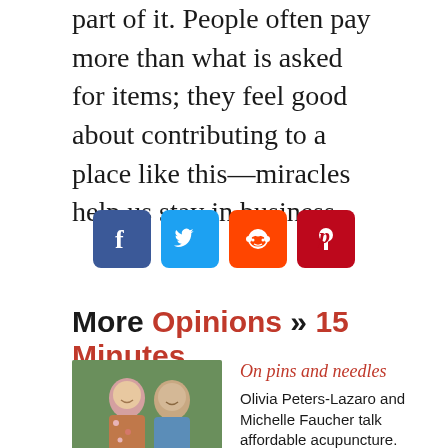part of it. People often pay more than what is asked for items; they feel good about contributing to a place like this—miracles help us stay in business.
[Figure (infographic): Social media share icons: Facebook (dark blue), Twitter (light blue), Reddit (orange), Pinterest (red)]
More Opinions » 15 Minutes
On pins and needles
[Figure (photo): Two people smiling outdoors, one in a floral top and one in a blue shirt]
Olivia Peters-Lazaro and Michelle Faucher talk affordable acupuncture.
Published on 05.13.10